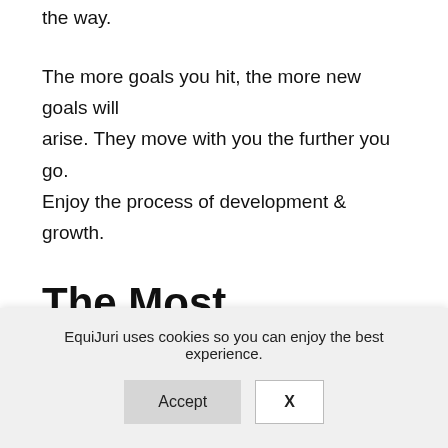the way.
The more goals you hit, the more new goals will arise. They move with you the further you go. Enjoy the process of development & growth.
The Most Practical Tech Stack For An Online Horse Coach
The...
EquiJuri uses cookies so you can enjoy the best experience.
Accept
X